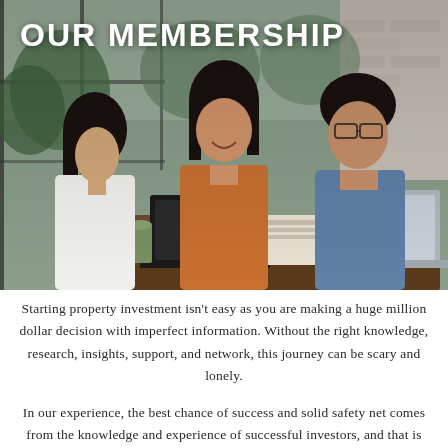[Figure (photo): Three people (two women and one man) sitting at a table in a cafe-like setting with plants, laptops, and drinks, having a meeting or discussion about property investment.]
OUR MEMBERSHIP
Starting property investment isn't easy as you are making a huge million dollar decision with imperfect information. Without the right knowledge, research, insights, support, and network, this journey can be scary and lonely.
In our experience, the best chance of success and solid safety net comes from the knowledge and experience of successful investors, and that is the